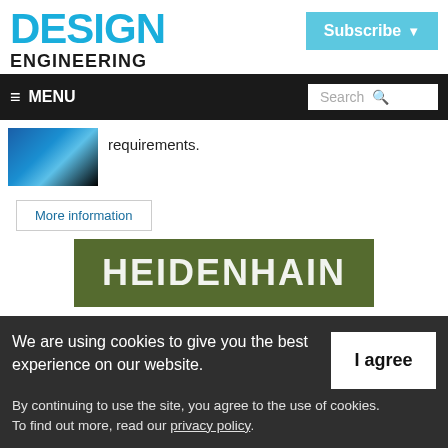DESIGN ENGINEERING
Subscribe
≡ MENU  Search
requirements.
More information
[Figure (illustration): Blue product image]
[Figure (logo): HEIDENHAIN banner logo on dark olive/green background]
We are using cookies to give you the best experience on our website. By continuing to use the site, you agree to the use of cookies. To find out more, read our privacy policy.
I agree